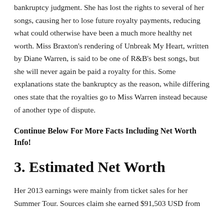bankruptcy judgment. She has lost the rights to several of her songs, causing her to lose future royalty payments, reducing what could otherwise have been a much more healthy net worth. Miss Braxton's rendering of Unbreak My Heart, written by Diane Warren, is said to be one of R&B's best songs, but she will never again be paid a royalty for this. Some explanations state the bankruptcy as the reason, while differing ones state that the royalties go to Miss Warren instead because of another type of dispute.
Continue Below For More Facts Including Net Worth Info!
3. Estimated Net Worth
Her 2013 earnings were mainly from ticket sales for her Summer Tour. Sources claim she earned $91,503 USD from